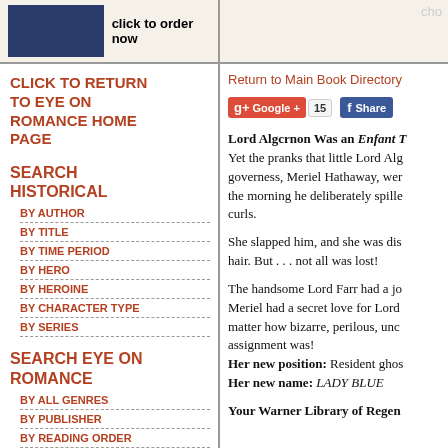[Figure (screenshot): Top bar with dark blue book cover image and 'click to order now' text on left, partial text on right]
CLICK TO RETURN TO EYE ON ROMANCE HOME PAGE
SEARCH HISTORICAL
BY AUTHOR
BY TITLE
BY TIME PERIOD
BY HERO
BY HEROINE
BY CHARACTER TYPE
BY SERIES
SEARCH EYE ON ROMANCE
BY ALL GENRES
BY PUBLISHER
BY READING ORDER
BY FEATURED AUTHOR
BY BOOK WARNING
Return to Main Book Directory
Lord Algcrnon Was an Enfant T
Yet the pranks that little Lord Alg... governess, Meriel Hathaway, were... the morning he deliberately spille... curls.

She slapped him, and she was dis... hair. But . . . not all was lost!

The handsome Lord Farr had a jo... Meriel had a secret love for Lord ... matter how bizarre, perilous, unc... assignment was!
Her new position: Resident ghos...
Her new name: LADY BLUE

Your Warner Library of Regen...